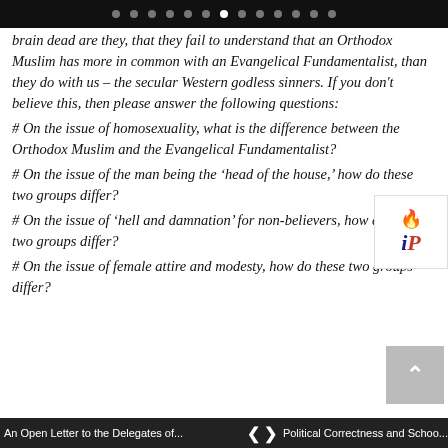brain dead are they, that they fail to understand that an Orthodox Muslim has more in common with an Evangelical Fundamentalist, than they do with us – the secular Western godless sinners. If you don't believe this, then please answer the following questions:
# On the issue of homosexuality, what is the difference between the Orthodox Muslim and the Evangelical Fundamentalist?
# On the issue of the man being the 'head of the house,' how do these two groups differ?
# On the issue of 'hell and damnation' for non-believers, how do these two groups differ?
# On the issue of female attire and modesty, how do these two groups differ?
< > Political Correctness and Schoo...